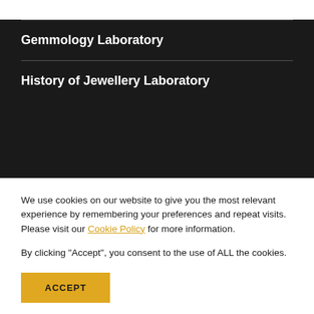Gemmology Laboratory
History of Jewellery Laboratory
We use cookies on our website to give you the most relevant experience by remembering your preferences and repeat visits. Please visit our Cookie Policy for more information.
By clicking "Accept", you consent to the use of ALL the cookies.
ACCEPT